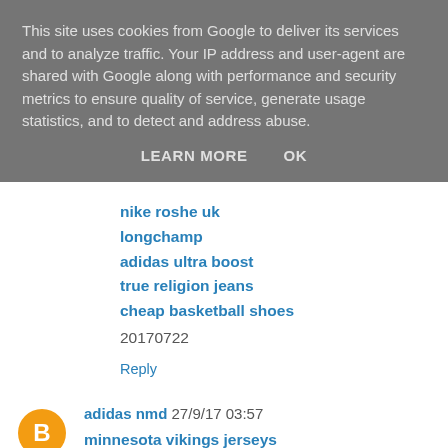This site uses cookies from Google to deliver its services and to analyze traffic. Your IP address and user-agent are shared with Google along with performance and security metrics to ensure quality of service, generate usage statistics, and to detect and address abuse.
LEARN MORE   OK
nike roshe uk
longchamp
adidas ultra boost
true religion jeans
cheap basketball shoes
20170722
Reply
adidas nmd 27/9/17 03:57
minnesota vikings jerseys
jordan 8
cowboys jerseys